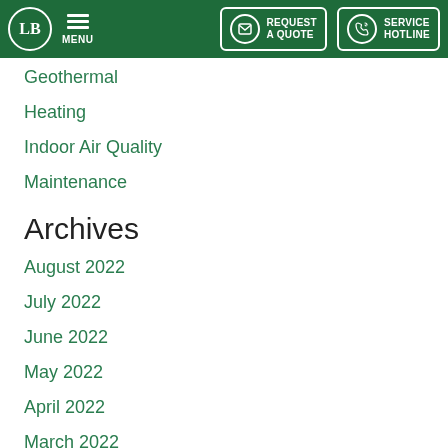LB logo | MENU | REQUEST A QUOTE | SERVICE HOTLINE
Geothermal
Heating
Indoor Air Quality
Maintenance
Archives
August 2022
July 2022
June 2022
May 2022
April 2022
March 2022
February 2022
January 2022